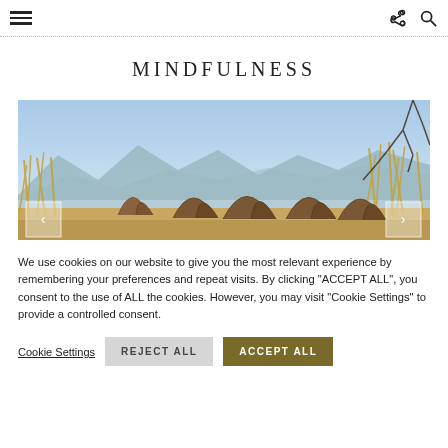≡  [share] [search]
MINDFULNESS
[Figure (photo): Outdoor scene with curved wooden sun loungers/cabanas in a row, surrounded by tall golden grasses, mountains and clear blue sky in the background. Navigation arrows visible on left and right edges.]
We use cookies on our website to give you the most relevant experience by remembering your preferences and repeat visits. By clicking "ACCEPT ALL", you consent to the use of ALL the cookies. However, you may visit "Cookie Settings" to provide a controlled consent.
Cookie Settings   REJECT ALL   ACCEPT ALL